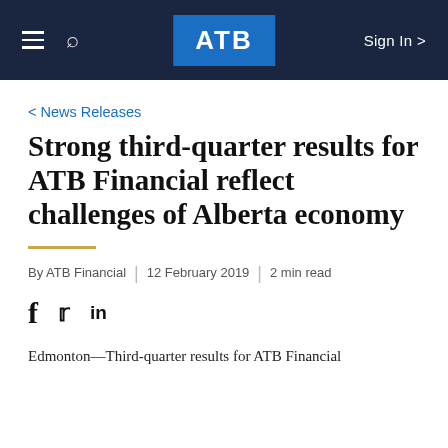ATB — Sign In
< News Releases
Strong third-quarter results for ATB Financial reflect challenges of Alberta economy
By ATB Financial | 12 February 2019 | 2 min read
Edmonton—Third-quarter results for ATB Financial